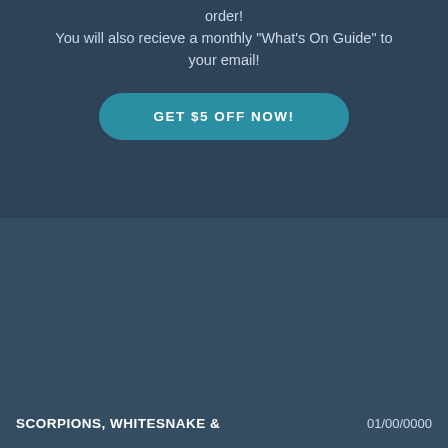order! You will also recieve a monthly "What's On Guide" to your email!
GET $5 OFF NOW!
UPCOMING EVENTS
SCORPIONS, WHITESNAKE &
01/00/0000